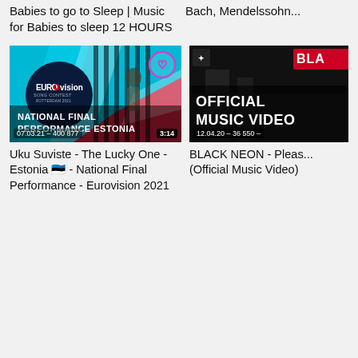Babies to go to Sleep | Music for Babies to sleep 12 HOURS
Bach, Mendelssohn...
[Figure (screenshot): YouTube thumbnail for Uku Suviste - The Lucky One - Estonia - National Final Performance - Eurovision 2021. Shows a performer on stage with Eurovision Song Contest Rotterdam 2021 logo, text overlay 'NATIONAL FINAL PERFORMANCE ESTONIA', date 07.03.21, views 400 877, duration 3:14. Heart icon overlay in top right corner.]
[Figure (screenshot): YouTube thumbnail showing 'OFFICIAL MUSIC VIDEO' text in bold white on dark background with BLACKPINK logo top right, date 12.04.20, views 36 550.]
Uku Suviste - The Lucky One - Estonia 🇪🇪 - National Final Performance - Eurovision 2021
BLACK NEON - Pleas... (Official Music Video)